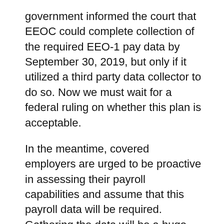government informed the court that EEOC could complete collection of the required EEO-1 pay data by September 30, 2019, but only if it utilized a third party data collector to do so. Now we must wait for a federal ruling on whether this plan is acceptable.
In the meantime, covered employers are urged to be proactive in assessing their payroll capabilities and assume that this payroll data will be required. Gathering the data will be a huge task for some employers, so it's a wise idea to gather your internal resources and start thinking about managing your database effectively in